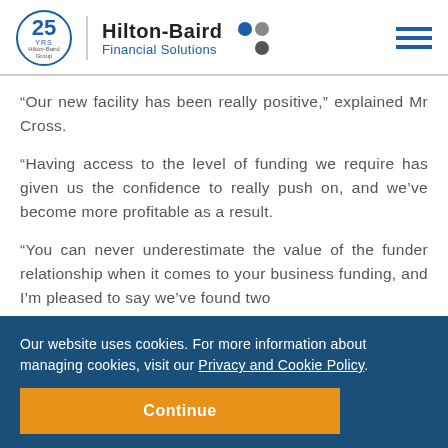Hilton-Baird Financial Solutions
“Our new facility has been really positive,” explained Mr Cross.
“Having access to the level of funding we require has given us the confidence to really push on, and we’ve become more profitable as a result.
“You can never underestimate the value of the funder relationship when it comes to your business funding, and I’m pleased to say we’ve found two
Our website uses cookies. For more information about managing cookies, visit our Privacy and Cookie Policy.
Continue